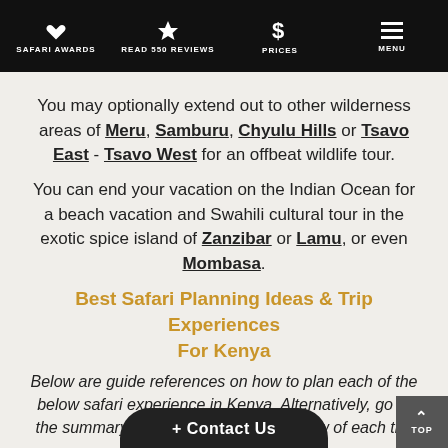SAFARI AWARDS | READ 550 REVIEWS | PRICES | MENU
You may optionally extend out to other wilderness areas of Meru, Samburu, Chyulu Hills or Tsavo East - Tsavo West for an offbeat wildlife tour.
You can end your vacation on the Indian Ocean for a beach vacation and Swahili cultural tour in the exotic spice island of Zanzibar or Lamu, or even Mombasa.
Best Safari Planning Ideas & Trip Experiences For Kenya
Below are guide references on how to plan each of the below safari experience in Kenya. Alternatively, go to the summary section for a quick overview of each trip